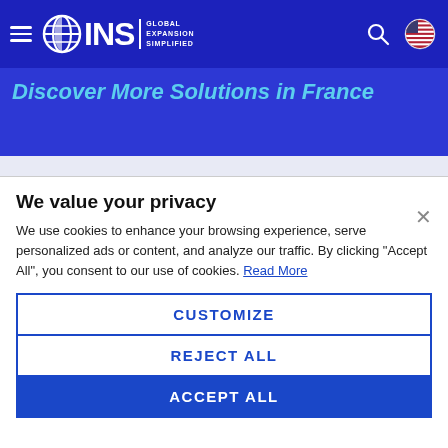INS Global Expansion Simplified — navigation bar with hamburger menu, logo, search icon, and flag
Discover More Solutions in France
We value your privacy
We use cookies to enhance your browsing experience, serve personalized ads or content, and analyze our traffic. By clicking "Accept All", you consent to our use of cookies. Read More
CUSTOMIZE
REJECT ALL
ACCEPT ALL